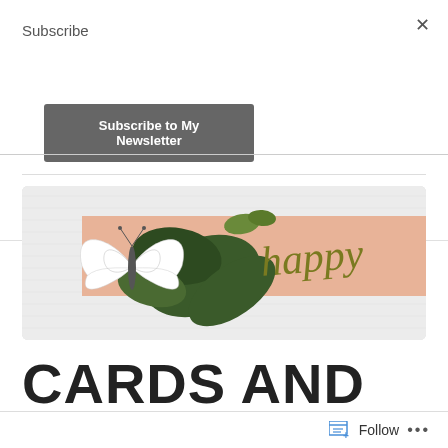Subscribe
Subscribe to My Newsletter
[Figure (photo): Close-up photo of a handmade greeting card featuring a white butterfly die-cut, dark green leaves, and a peach/salmon diagonal band with olive-green cursive 'happy' script text. Background is white embossed/textured paper.]
CARDS AND
Follow ...